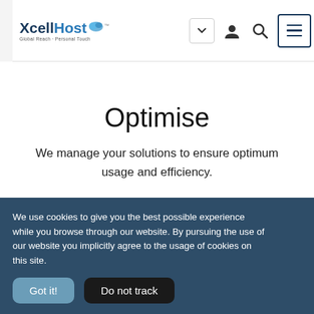XcellHost — Global Reach · Personal Touch — Navigation bar with logo, dropdown, user, search, and menu icons
Optimise
We manage your solutions to ensure optimum usage and efficiency.
We use cookies to give you the best possible experience while you browse through our website. By pursuing the use of our website you implicitly agree to the usage of cookies on this site.
Got it!
Do not track